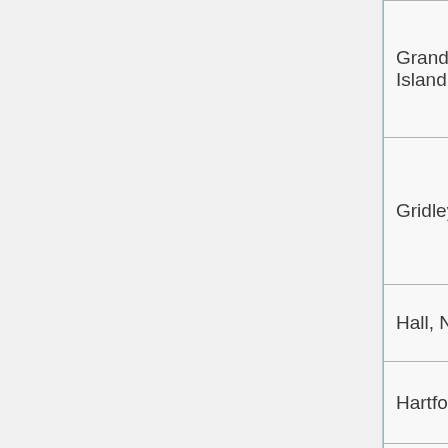| Grand Island |  | 1927 | River Road |
| Gridley |  | 1935 |  |
| Hall, NY |  | 1935 |  |
| Hartford WI |  | 1935 |  |
| Honolulu, HI |  | 1935 |  |
| Houston DE |  | 1935 |  |